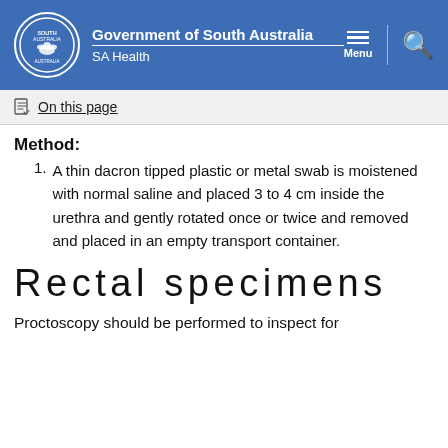Government of South Australia SA Health
On this page
Method:
A thin dacron tipped plastic or metal swab is moistened with normal saline and placed 3 to 4 cm inside the urethra and gently rotated once or twice and removed and placed in an empty transport container.
Rectal specimens
Proctoscopy should be performed to inspect for